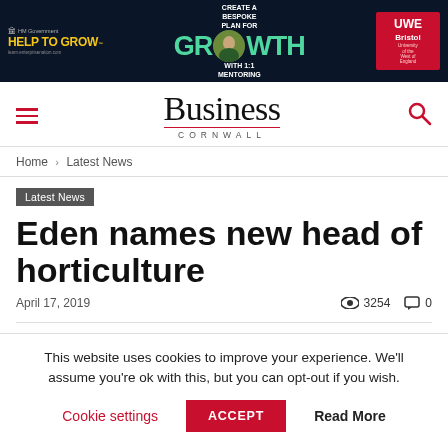[Figure (other): Advertisement banner: dark navy background with 'HELP TO GROW' text in yellow, 'CREATE A BESPOKE PLAN FOR GROWTH WITH 1:1 MENTORING' in white and green text, photo of a person, and UWE Bristol logo in red on the right.]
Business Cornwall
Home › Latest News
Latest News
Eden names new head of horticulture
April 17, 2019   👁 3254   💬 0
This website uses cookies to improve your experience. We'll assume you're ok with this, but you can opt-out if you wish.
Cookie settings   ACCEPT   Read More